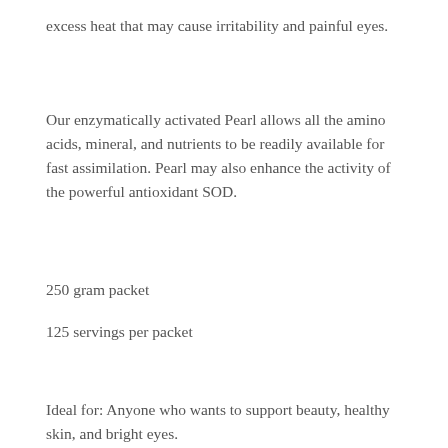excess heat that may cause irritability and painful eyes.
Our enzymatically activated Pearl allows all the amino acids, mineral, and nutrients to be readily available for fast assimilation. Pearl may also enhance the activity of the powerful antioxidant SOD.
250 gram packet
125 servings per packet
Ideal for: Anyone who wants to support beauty, healthy skin, and bright eyes.